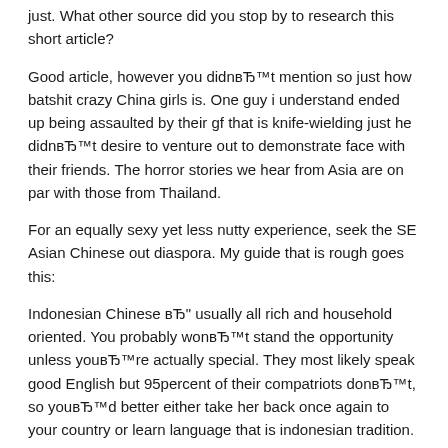just. What other source did you stop by to research this short article?
Good article, however you didn't mention so just how batshit crazy China girls is. One guy i understand ended up being assaulted by their gf that is knife-wielding just he didn't desire to venture out to demonstrate face with their friends. The horror stories we hear from Asia are on par with those from Thailand.
For an equally sexy yet less nutty experience, seek the SE Asian Chinese out diaspora. My guide that is rough goes this:
Indonesian Chinese – usually all rich and household oriented. You probably won't stand the opportunity unless you're actually special. They most likely speak good English but 95percent of their compatriots don't, so you'd better either take her back once again to your country or learn language that is indonesian tradition.